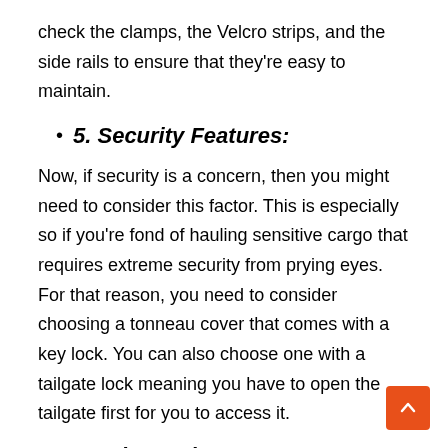check the clamps, the Velcro strips, and the side rails to ensure that they're easy to maintain.
5. Security Features:
Now, if security is a concern, then you might need to consider this factor. This is especially so if you're fond of hauling sensitive cargo that requires extreme security from prying eyes. For that reason, you need to consider choosing a tonneau cover that comes with a key lock. You can also choose one with a tailgate lock meaning you have to open the tailgate first for you to access it.
6. Price and Warranty:
The last two factors you need to inspect when choosing a